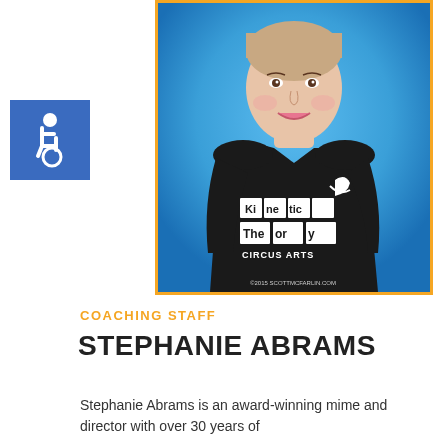[Figure (photo): Portrait photo of Stephanie Abrams wearing a black Kinetic Theory Circus Arts t-shirt against a blue background. Photo credit: ©2015 SCOTTMCFARLIN.COM]
[Figure (logo): Blue square accessibility/wheelchair icon]
COACHING STAFF
STEPHANIE ABRAMS
Stephanie Abrams is an award-winning mime and director with over 30 years of